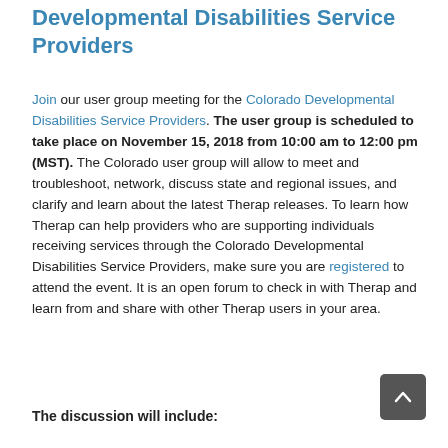User Group Meeting for the Colorado Developmental Disabilities Service Providers
Join our user group meeting for the Colorado Developmental Disabilities Service Providers. The user group is scheduled to take place on November 15, 2018 from 10:00 am to 12:00 pm (MST). The Colorado user group will allow to meet and troubleshoot, network, discuss state and regional issues, and clarify and learn about the latest Therap releases. To learn how Therap can help providers who are supporting individuals receiving services through the Colorado Developmental Disabilities Service Providers, make sure you are registered to attend the event. It is an open forum to check in with Therap and learn from and share with other Therap users in your area.
The discussion will include: